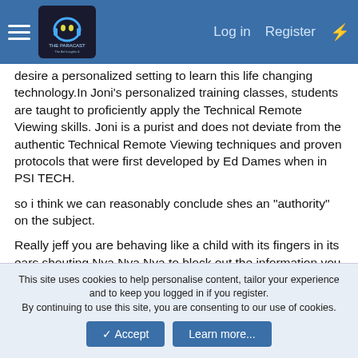THE PARACAST — Log in  Register
desire a personalized setting to learn this life changing technology.In Joni's personalized training classes, students are taught to proficiently apply the Technical Remote Viewing skills. Joni is a purist and does not deviate from the authentic Technical Remote Viewing techniques and proven protocols that were first developed by Ed Dames when in PSI TECH.
so i think we can reasonably conclude shes an "authority" on the subject.
Really jeff you are behaving like a child with its fingers in its ears shouting Nya Nya Nya to block out the information you know will show you to be dead wrong.
Is your delusion of being correct so comfortable you prefer it to
This site uses cookies to help personalise content, tailor your experience and to keep you logged in if you register.
By continuing to use this site, you are consenting to our use of cookies.